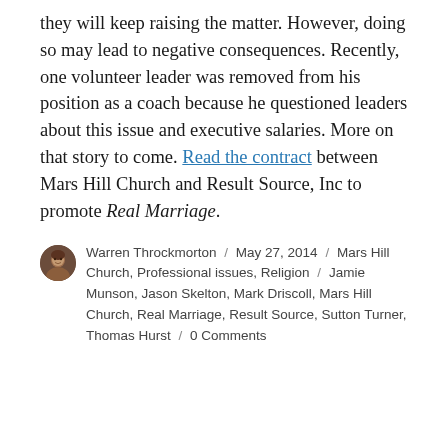they will keep raising the matter. However, doing so may lead to negative consequences. Recently, one volunteer leader was removed from his position as a coach because he questioned leaders about this issue and executive salaries. More on that story to come. Read the contract between Mars Hill Church and Result Source, Inc to promote Real Marriage.
Warren Throckmorton / May 27, 2014 / Mars Hill Church, Professional issues, Religion / Jamie Munson, Jason Skelton, Mark Driscoll, Mars Hill Church, Real Marriage, Result Source, Sutton Turner, Thomas Hurst / 0 Comments